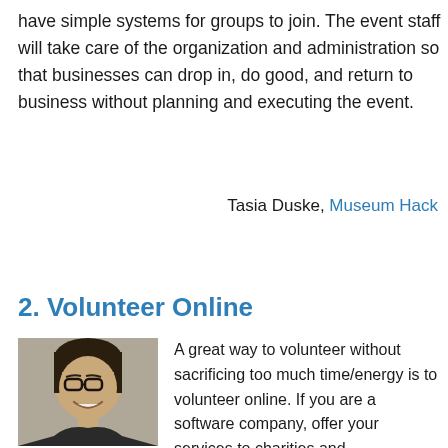have simple systems for groups to join. The event staff will take care of the organization and administration so that businesses can drop in, do good, and return to business without planning and executing the event.
Tasia Duske, Museum Hack
2. Volunteer Online
[Figure (photo): Photo of a man with glasses and dark hair, smiling, in front of a wall]
A great way to volunteer without sacrificing too much time/energy is to volunteer online. If you are a software company, offer your services to charities and organizations that